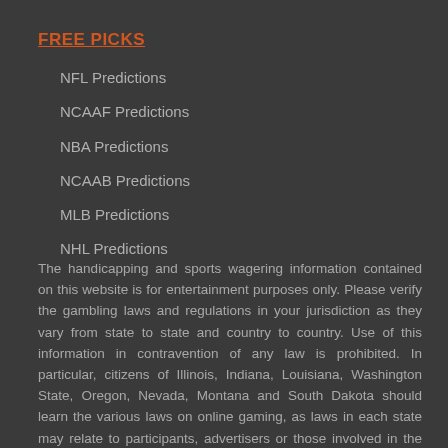FREE PICKS
NFL Predictions
NCAAF Predictions
NBA Predictions
NCAAB Predictions
MLB Predictions
NHL Predictions
The handicapping and sports wagering information contained on this website is for entertainment purposes only. Please verify the gambling laws and regulations in your jurisdiction as they vary from state to state and country to country. Use of this information in contravention of any law is prohibited. In particular, citizens of Illinois, Indiana, Louisiana, Washington State, Oregon, Nevada, Montana and South Dakota should learn the various laws on online gaming, as laws in each state may relate to participants, advertisers or those involved in the business of gaming.